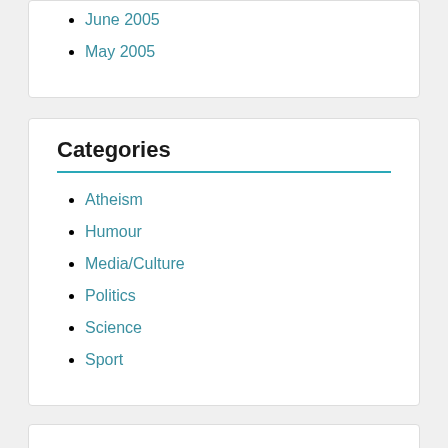June 2005
May 2005
Categories
Atheism
Humour
Media/Culture
Politics
Science
Sport
Meta